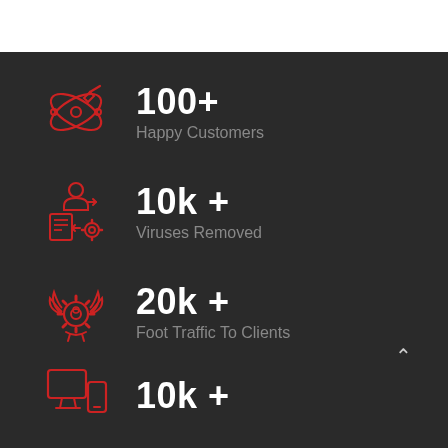[Figure (infographic): Red line-art icon of a creative design tool (pen/brush with circular orbits)]
100+
Happy Customers
[Figure (infographic): Red line-art icon of a person with document and gear (IT/virus removal)]
10k +
Viruses Removed
[Figure (infographic): Red line-art icon of a gear with wings/leaves and person (foot traffic/growth)]
20k +
Foot Traffic To Clients
[Figure (infographic): Red line-art icon of desktop and mobile device]
10k +